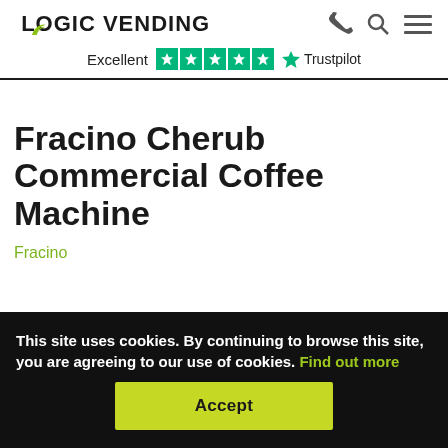LOGIC VENDING — Excellent ★★★★★ Trustpilot
Fracino Cherub Commercial Coffee Machine
Fracino
This site uses cookies. By continuing to browse this site, you are agreeing to our use of cookies. Find out more
Accept